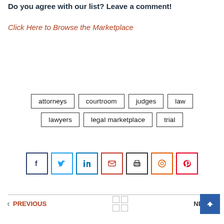Do you agree with our list? Leave a comment!
Click Here to Browse the Marketplace
attorneys
courtroom
judges
law
lawyers
legal marketplace
trial
[Figure (infographic): Social sharing buttons: Facebook, Twitter, LinkedIn, Email, Print, Reddit, Pinterest]
PREVIOUS  [grid icon]  NEXT